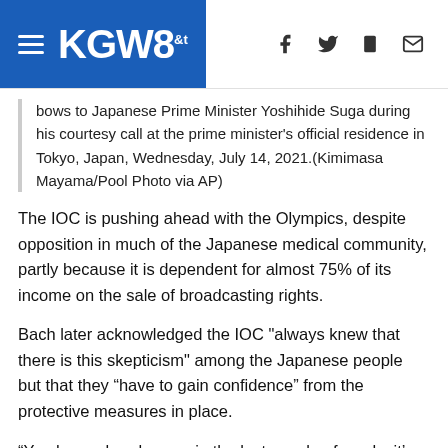KGW8
bows to Japanese Prime Minister Yoshihide Suga during his courtesy call at the prime minister's official residence in Tokyo, Japan, Wednesday, July 14, 2021.(Kimimasa Mayama/Pool Photo via AP)
The IOC is pushing ahead with the Olympics, despite opposition in much of the Japanese medical community, partly because it is dependent for almost 75% of its income on the sale of broadcasting rights.
Bach later acknowledged the IOC "always knew that there is this skepticism" among the Japanese people but that they “have to gain confidence” from the protective measures in place.
“You have already seen in the last couple of weeks it’s changing slowly but surely,” the IOC leader told international media in a conference call. "When the athletes